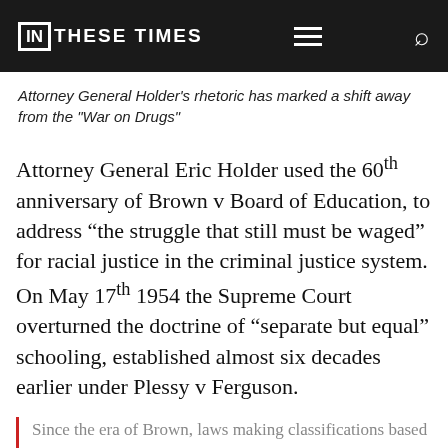IN THESE TIMES
Attorney General Holder's rhetoric has marked a shift away from the "War on Drugs"
Attorney General Eric Holder used the 60th anniversary of Brown v Board of Education, to address “the struggle that still must be waged” for racial justice in the criminal justice system. On May 17th 1954 the Supreme Court overturned the doctrine of “separate but equal” schooling, established almost six decades earlier under Plessy v Ferguson.
Since the era of Brown, laws making classifications based on race have been subjected to a legal